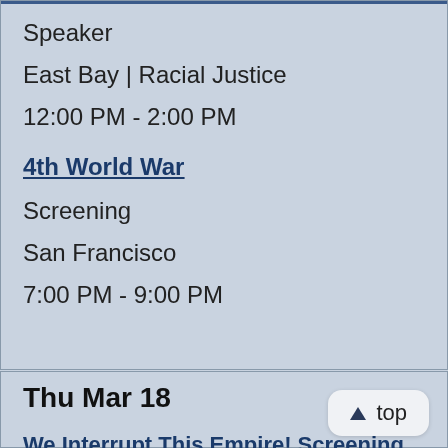Speaker
East Bay | Racial Justice
12:00 PM - 2:00 PM
4th World War
Screening
San Francisco
7:00 PM - 9:00 PM
Thu Mar 18
We Interrupt This Empire! Screening
Screening